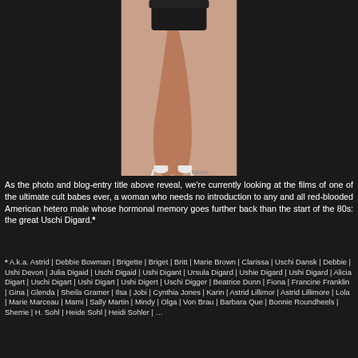[Figure (photo): A cropped photo showing the legs and lower body of a woman in a black outfit and white high-heeled sandals, posed against a light pink/cream background.]
As the photo and blog-entry title above reveal, we're currently looking at the films of one of the ultimate cult babes ever, a woman who needs no introduction to any and all red-blooded American hetero male whose hormonal memory goes further back than the start of the 80s: the great Uschi Digard.*
* A.k.a. Astrid | Debbie Bowman | Brigette | Briget | Britt | Marie Brown | Clarissa | Uschi Dansk | Debbie | Ushi Devon | Julia Digaid | Uschi Digaid | Ushi Digant | Ursula Digard | Ushie Digard | Ushi Digard | Alicia Digart | Uschi Digart | Ushi Digart | Ushi Digert | Uschi Digger | Beatrice Dunn | Fiona | Francine Franklin | Gina | Glenda | Sheila Gramer | Ilsa | Jobi | Cynthia Jones | Karin | Astrid Lillimor | Astrid Lillimore | Lola | Marie Marceau | Marni | Sally Martin | Mindy | Olga | Von Brau | Barbara Que | Bonnie Roundheels | Sherrie | H. Sohl | Heide Sohl | Heidi Sohler | ...